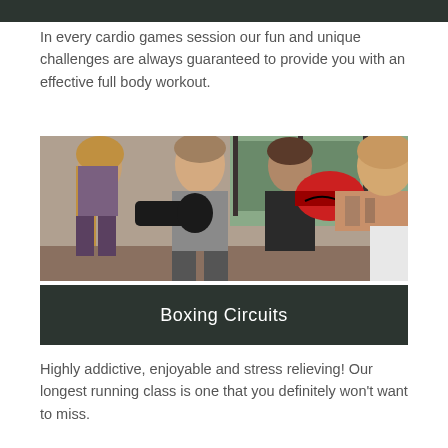[Figure (photo): Dark header bar at top of page]
In every cardio games session our fun and unique challenges are always guaranteed to provide you with an effective full body workout.
[Figure (photo): Boxing class photo showing instructor with red boxing glove punching towards students wearing black boxing gloves in a gym setting]
Boxing Circuits
Highly addictive, enjoyable and stress relieving! Our longest running class is one that you definitely won't want to miss.